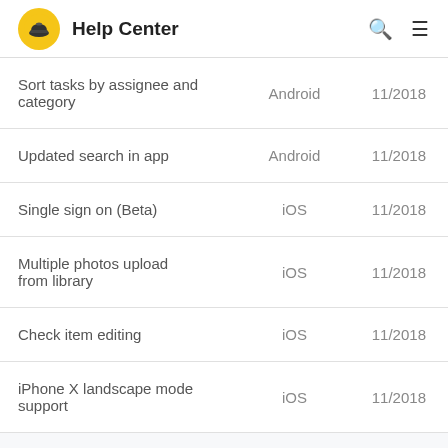Help Center
|  |  |  |
| --- | --- | --- |
| Sort tasks by assignee and category | Android | 11/2018 |
| Updated search in app | Android | 11/2018 |
| Single sign on (Beta) | iOS | 11/2018 |
| Multiple photos upload from library | iOS | 11/2018 |
| Check item editing | iOS | 11/2018 |
| iPhone X landscape mode support | iOS | 11/2018 |